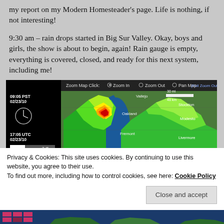my report on my Modern Homesteader's page. Life is nothing, if not interesting!
9:30 am – rain drops started in Big Sur Valley. Okay, boys and girls, the show is about to begin, again! Rain gauge is empty, everything is covered, closed, and ready for this next system, including me!
[Figure (screenshot): Radar map screenshot showing Bay Area weather at 09:05 PST 02/23/10 (17:05 UTC 02/23/10). Shows Zoom Map Click controls: Zoom In, Zoom Out, Pan Map, Full Zoom Out. Max reflectivity 49 db2, Vol. cov. pattern 21. Shows green/yellow/red precipitation over Bay Area including Oakland, Fremont, Stockton, Modesto areas.]
Privacy & Cookies: This site uses cookies. By continuing to use this website, you agree to their use.
To find out more, including how to control cookies, see here: Cookie Policy